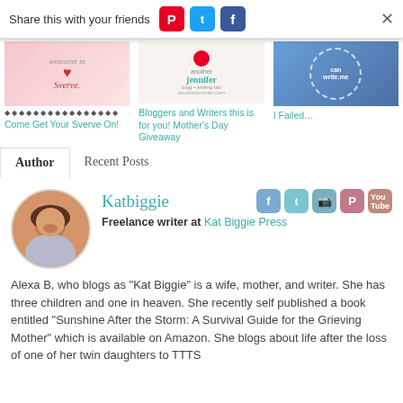Share this with your friends
[Figure (screenshot): Three related post thumbnails: Swerve blog, Another Jennifer blog, and canwrite.me blog]
Come Get Your Sverve On!
Bloggers and Writers this is for you! Mother's Day Giveaway
I Failed…
Author  Recent Posts
Katbiggie
Freelance writer at Kat Biggie Press
Alexa B, who blogs as "Kat Biggie" is a wife, mother, and writer. She has three children and one in heaven. She recently self published a book entitled "Sunshine After the Storm: A Survival Guide for the Grieving Mother" which is available on Amazon. She blogs about life after the loss of one of her twin daughters to TTTS